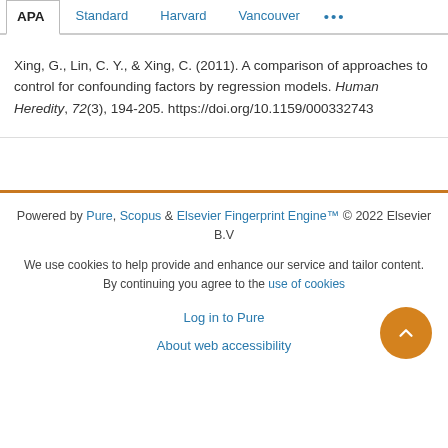APA | Standard | Harvard | Vancouver | ...
Xing, G., Lin, C. Y., & Xing, C. (2011). A comparison of approaches to control for confounding factors by regression models. Human Heredity, 72(3), 194-205. https://doi.org/10.1159/000332743
Powered by Pure, Scopus & Elsevier Fingerprint Engine™ © 2022 Elsevier B.V
We use cookies to help provide and enhance our service and tailor content. By continuing you agree to the use of cookies
Log in to Pure
About web accessibility